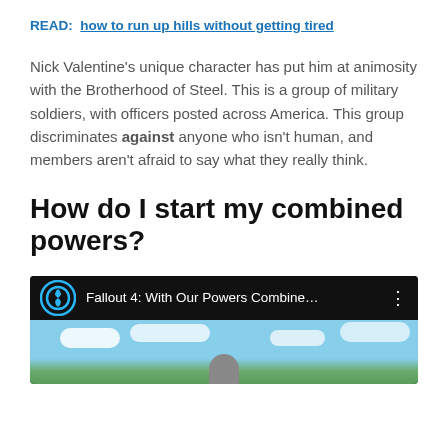READ:  how to run up hills without getting tired
Nick Valentine's unique character has put him at animosity with the Brotherhood of Steel. This is a group of military soldiers, with officers posted across America. This group discriminates against anyone who isn't human, and members aren't afraid to say what they really think.
How do I start my combined powers?
[Figure (screenshot): Video thumbnail for 'Fallout 4: With Our Powers Combine...' showing a blue sky with clouds and a partial figure at the bottom. Video player bar with circular logo icon, title text, and three-dot menu.]